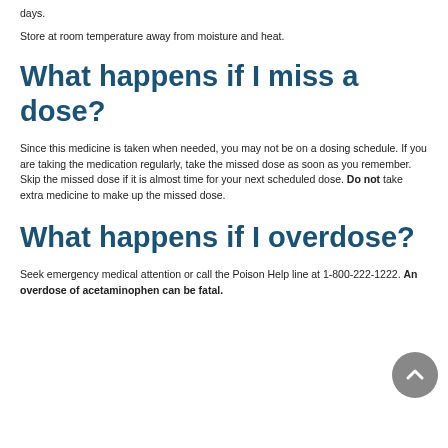days.
Store at room temperature away from moisture and heat.
What happens if I miss a dose?
Since this medicine is taken when needed, you may not be on a dosing schedule. If you are taking the medication regularly, take the missed dose as soon as you remember. Skip the missed dose if it is almost time for your next scheduled dose. Do not take extra medicine to make up the missed dose.
What happens if I overdose?
Seek emergency medical attention or call the Poison Help line at 1-800-222-1222. An overdose of acetaminophen can be fatal.